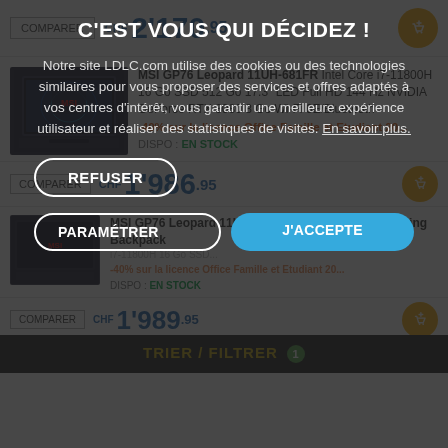COMPARER | CHF 2'170.95
MSI GP76 Leopard 11UH-681FR Intel Core i7-11800H 16 Go SSD 512 Go 17.3" LED Full HD 144 Hz NVIDIA GeForce RTX 3080 8 Go Wi-Fi 6E/Bluetooth
-40% sur la licence Office Famille et Etudiant 20...
DISPO : EN STOCK
CHF 1'986.95
C'EST VOUS QUI DÉCIDEZ !
Notre site LDLC.com utilise des cookies ou des technologies similaires pour vous proposer des services et offres adaptés à vos centres d'intérêt, vous garantir une meilleure expérience utilisateur et réaliser des statistiques de visites. En savoir plus.
REFUSER
CHF 1'989.95
PARAMÉTRER
J'ACCEPTE
MSI GP76 Leopard 11UH-681FR + Urban Raider Gaming Backpack
MSI GS65 Stealth Thin 9SD-167...
TRIER / FILTRER